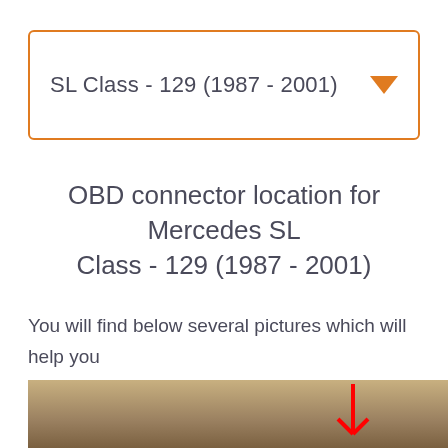SL Class - 129 (1987 - 2001)
OBD connector location for Mercedes SL Class - 129 (1987 - 2001)
You will find below several pictures which will help you find your OBD connector in your car.
[Figure (photo): Partial photo of Mercedes SL Class interior/dashboard area with a red arrow indicator pointing to OBD connector location]